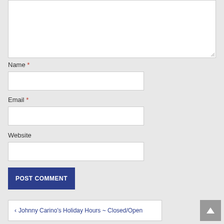[Figure (screenshot): Textarea input box at top of page, partially visible]
Name *
[Figure (screenshot): Name text input field]
Email *
[Figure (screenshot): Email text input field]
Website
[Figure (screenshot): Website text input field]
POST COMMENT
‹ Johnny Carino's Holiday Hours ~ Closed/Open